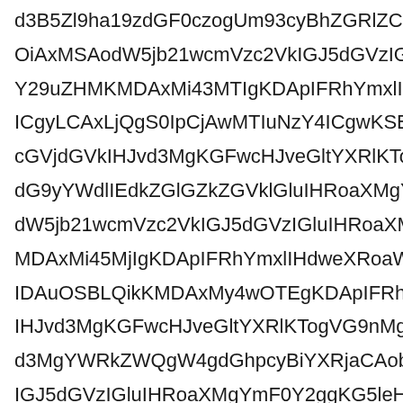d3B5Zl9ha19zdGF0czogUm93cyBhZGRlZCBpbiB0aGG OiAxMSAodW5jb21wcmVzc2VkIGJ5dGVzIGluIHRoaZ Y29uZHMKMDAxMi43MTIgKDApIFRhYmxlIHdweXRobd ICgyLCAxLjQgS0IpCjAwMTIuNzY4ICgwKSBTBUYWJsZ cGVjdGVkIHJvd3MgKGFwcHJveGltYXRlKTogVG9nMaN dG9yYWdlIEdkZGlGZkZGVklGluIHRoaXMgYmF0Y2gg dW5jb21wcmVzc2VkIGJ5dGVzIGluIHRoaXMgYmF0Y2V MDAxMi45MjIgKDApIFRhYmxlIHdweXRoaWZfYWtfc3l IDAuOSBLQikKMDAxMy4wOTEgKDApIFRhYmxlIHdweR IHJvd3MgKGFwcHJveGltYXRlKTogVG9nMgKGFwcHJ4Ml d3MgYWRkZWQgW4gdGhpcyBiYXRjaCAobmV4dCBhdGG IGJ5dGVzIGluIHRoaXMgYmF0Y2ggKG5leHQgWndD01Nd VGFibGUgd3B5dGhpZzogNjFoZmluaXpvZ0ZmluaXNoX05 NzEgKDApIFRhYmxlIHdweXthbGl0WVRlZWJhbmtIM1 cm94aW1hdGUpOiAyCjAwMTMuNDIxICgwKSBZw YWRkZWQgaW4gdGhpcyBiYXRjaCBuZXh0 YWRkZWQgW4gdGhpcyBiYXRjaCAobmV4dCBhdGGb ZAl8ZYMoeW4gdGhpcyBiYXRjaCBuZXh0IFdF0RTY4NSh